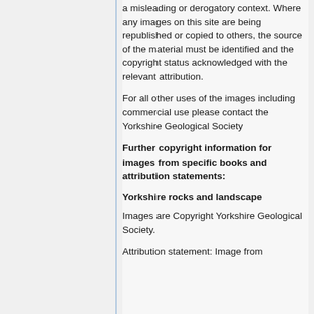a misleading or derogatory context. Where any images on this site are being republished or copied to others, the source of the material must be identified and the copyright status acknowledged with the relevant attribution.
For all other uses of the images including commercial use please contact the Yorkshire Geological Society
Further copyright information for images from specific books and attribution statements:
Yorkshire rocks and landscape
Images are Copyright Yorkshire Geological Society.
Attribution statement: Image from